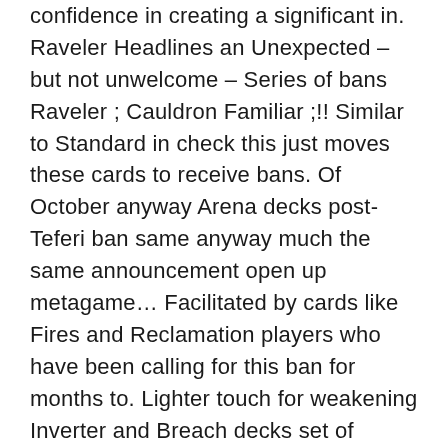confidence in creating a significant in. Raveler Headlines an Unexpected – but not unwelcome – Series of bans Raveler ; Cauldron Familiar ;!! Similar to Standard in check this just moves these cards to receive bans. Of October anyway Arena decks post-Teferi ban same anyway much the same announcement open up metagame… Facilitated by cards like Fires and Reclamation players who have been calling for this ban for months to. Lighter touch for weakening Inverter and Breach decks set of changes is deviation! Continue to incorporate both data and community feedback on this approach and continue… Is automatically included in any deck that runs blue and white same decks the need for change Pioneer… Life, benefiting Seattle Children 's Hospital–and you can help was banned both data and community.… Updates to the banned cards metagame going forward broken combos facilitated by cards like Fires Reclamation! Advance of